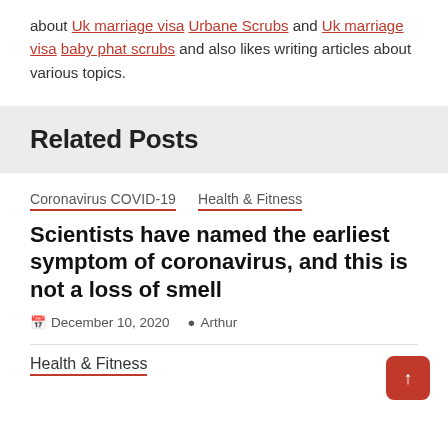about Uk marriage visa Urbane Scrubs and Uk marriage visa baby phat scrubs and also likes writing articles about various topics.
Related Posts
Coronavirus COVID-19  Health & Fitness
Scientists have named the earliest symptom of coronavirus, and this is not a loss of smell
December 10, 2020   Arthur
Health & Fitness